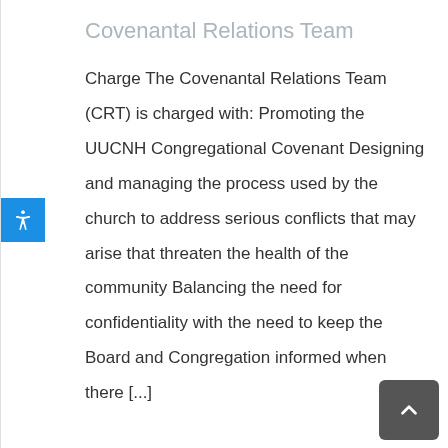Covenantal Relations Team
Charge The Covenantal Relations Team (CRT) is charged with: Promoting the UUCNH Congregational Covenant Designing and managing the process used by the church to address serious conflicts that may arise that threaten the health of the community Balancing the need for confidentiality with the need to keep the Board and Congregation informed when there […]